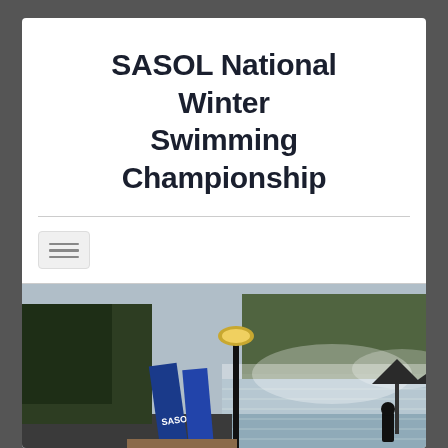SASOL National Winter Swimming Championship
[Figure (photo): Outdoor swimming pool early morning with mist rising from heated water, blue banners/flags including SASOL branded banner, a street lamp in center, trees in background, pool lanes visible, umbrellas near pool deck, cool winter morning atmosphere.]